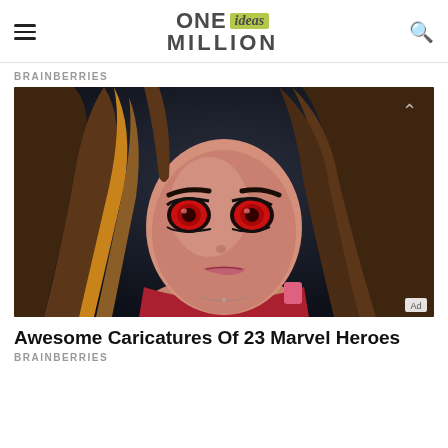ONE ideas MILLION — navigation header with hamburger menu and search
BRAINBERRIES
[Figure (illustration): Digital illustration/caricature of a female Marvel superhero (Scarlet Witch) with long brown hair, glowing red eyes, wearing a red outfit, against a dark background. An 'Ad' badge appears in the bottom right corner.]
Awesome Caricatures Of 23 Marvel Heroes
BRAINBERRIES